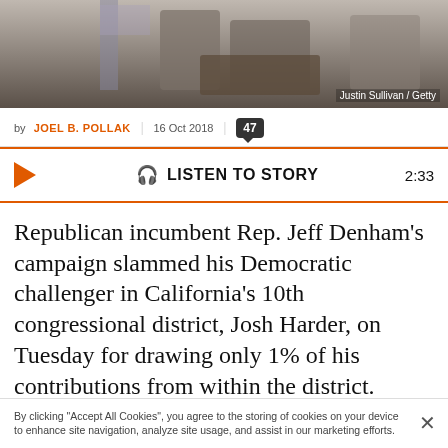[Figure (photo): News article header photo showing people in an official setting, with an American flag visible]
Justin Sullivan / Getty
by JOEL B. POLLAK | 16 Oct 2018 | 47
LISTEN TO STORY 2:33
Republican incumbent Rep. Jeff Denham's campaign slammed his Democratic challenger in California's 10th congressional district, Josh Harder, on Tuesday for drawing only 1% of his contributions from within the district.
Campaign finance data indicate both candidates draw most of their funding from outside the district, as is usually the case in closely contested House races with national implications, especially in
By clicking "Accept All Cookies", you agree to the storing of cookies on your device to enhance site navigation, analyze site usage, and assist in our marketing efforts.